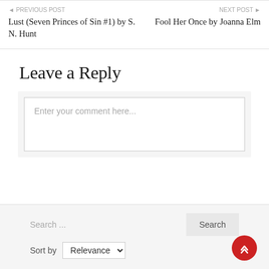◄ PREVIOUS POST
Lust (Seven Princes of Sin #1) by S. N. Hunt
NEXT POST ►
Fool Her Once by Joanna Elm
Leave a Reply
Enter your comment here...
Search ...
Search
Sort by Relevance